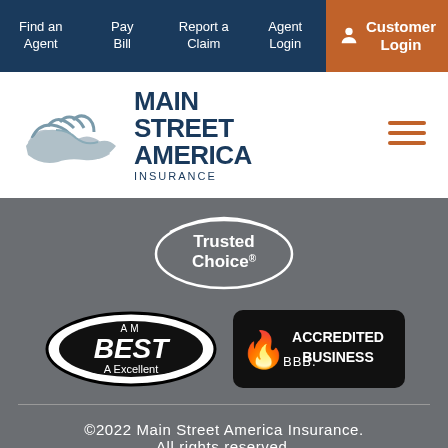Find an Agent | Pay Bill | Report a Claim | Agent Login | Customer Login
[Figure (logo): Main Street America Insurance logo with handshake graphic and bold navy text]
[Figure (logo): Trusted Choice certified partner logo in white on gray background]
[Figure (logo): AM Best A Excellent rating badge (oval black/white)]
[Figure (logo): BBB Accredited Business badge (black rectangle with torch and text)]
©2022 Main Street America Insurance. All rights reserved.